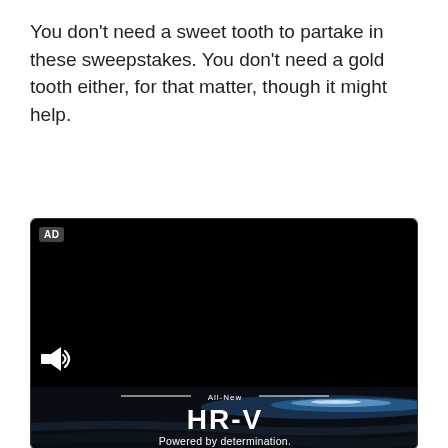You don't need a sweet tooth to partake in these sweepstakes. You don't need a gold tooth either, for that matter, though it might help.
[Figure (screenshot): Video player showing a dark screen with an AD badge in the top-left corner and a muted speaker icon in the bottom-left. The lower portion shows a Honda HR-V advertisement with text 'All-New HR-V Powered by determination.' on a dark background with blue light streaks.]